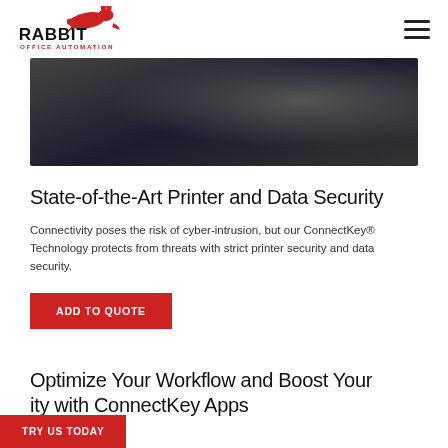RABBIT OFFICE AUTOMATION
[Figure (photo): Close-up photo of a printer or office device control panel with dark screen and metallic surfaces]
State-of-the-Art Printer and Data Security
Connectivity poses the risk of cyber-intrusion, but our ConnectKey® Technology protects from threats with strict printer security and data security.
ADD TO QUOTE
Optimize Your Workflow and Boost Your ity with ConnectKey Apps
TRY US TODAY